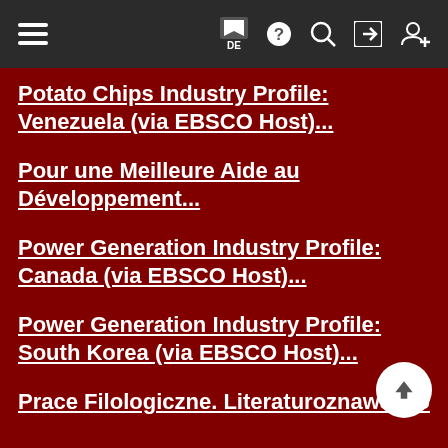DE [navigation bar with hamburger menu, flag/DE, help, search, login, register icons]
Potato Chips Industry Profile: Venezuela (via EBSCO Host)...
Pour une Meilleure Aide au Développement...
Power Generation Industry Profile: Canada (via EBSCO Host)...
Power Generation Industry Profile: South Korea (via EBSCO Host)...
Prace Filologiczne. Literaturoznawstwo